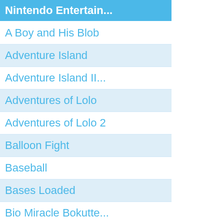| Nintendo Entertain... |
| --- |
| A Boy and His Blob |
| Adventure Island |
| Adventure Island II... |
| Adventures of Lolo |
| Adventures of Lolo 2 |
| Balloon Fight |
| Baseball |
| Bases Loaded |
| Bio Miracle Bokutte... |
| Blades of Steel |
| Blaster Master |
| Bubble Bobble |
| BurgerTime |